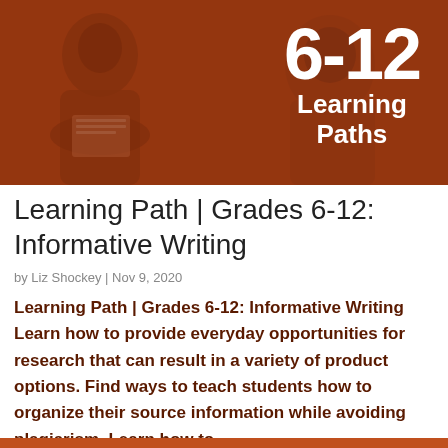[Figure (photo): Hero banner image with brownish-red tinted overlay showing students reading, with large white text '6-12 Learning Paths' overlaid on the right side.]
Learning Path | Grades 6-12: Informative Writing
by Liz Shockey | Nov 9, 2020
Learning Path | Grades 6-12: Informative Writing Learn how to provide everyday opportunities for research that can result in a variety of product options. Find ways to teach students how to organize their source information while avoiding plagiarism. Learn how to...